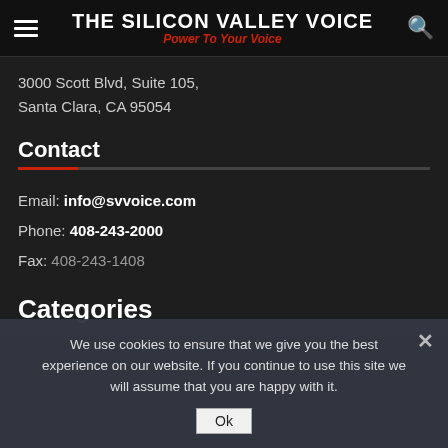THE SILICON VALLEY VOICE — Power To Your Voice
3000 Scott Blvd, Suite 105,
Santa Clara, CA 95054
Contact
Email: info@svvoice.com
Phone: 408-243-2000
Fax: 408-243-1408
Categories
We use cookies to ensure that we give you the best experience on our website. If you continue to use this site we will assume that you are happy with it.